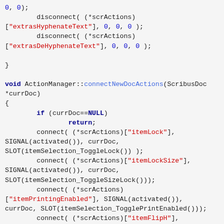Source code snippet showing C++ ActionManager::connectNewDocActions function with disconnect and connect calls for various scrActions including extrasHyphenateText, extrasDeHyphenateText, itemLock, itemLockSize, itemPrintingEnabled, itemFlipH, itemFlipV.